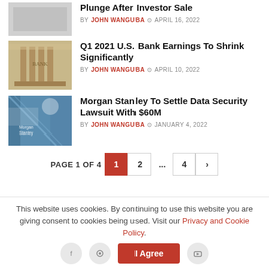[Figure (photo): Partial thumbnail of a financial article (top, cropped)]
Plunge After Investor Sale
BY JOHN WANGUBA  APRIL 16, 2022
[Figure (photo): Photo of a bank building facade with columns]
Q1 2021 U.S. Bank Earnings To Shrink Significantly
BY JOHN WANGUBA  APRIL 10, 2022
[Figure (photo): Photo of Morgan Stanley building glass exterior]
Morgan Stanley To Settle Data Security Lawsuit With $60M
BY JOHN WANGUBA  JANUARY 4, 2022
PAGE 1 OF 4  1  2  ...  4  >
This website uses cookies. By continuing to use this website you are giving consent to cookies being used. Visit our Privacy and Cookie Policy.